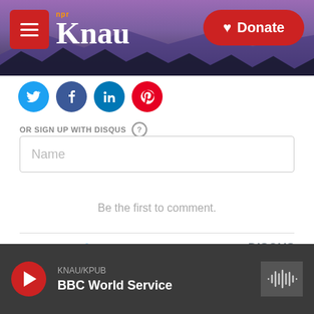[Figure (screenshot): KNAU NPR radio station website header with purple mountain background, red hamburger menu button, KNAU logo, and red Donate button]
[Figure (infographic): Social media share icons: Twitter (blue), Facebook (dark blue), LinkedIn (light blue), Pinterest (red)]
OR SIGN UP WITH DISQUS
Name
Be the first to comment.
Subscribe   Add Disqus   Do Not Sell My Data   DISQUS
KNAU/KPUB
BBC World Service